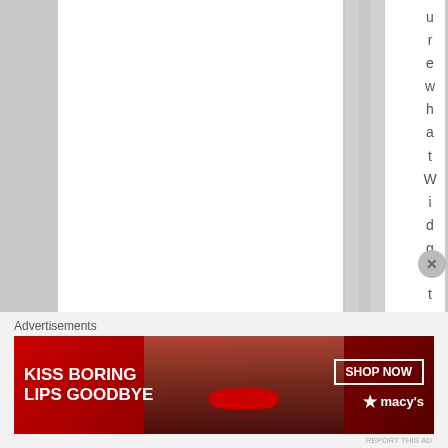ure what Widgets wer
Advertisements
[Figure (photo): Macy's advertisement banner: 'KISS BORING LIPS GOODBYE' with a woman's face and red lips, SHOP NOW button and Macy's star logo on dark red background]